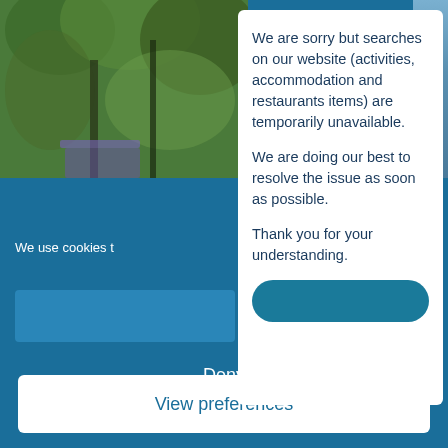[Figure (photo): Background photo of trees/foliage on the left side with a teal/blue website background]
We are sorry but searches on our website (activities, accommodation and restaurants items) are temporarily unavailable.

We are doing our best to resolve the issue as soon as possible.

Thank you for your understanding.
We use cookies t
Deny
View preferences